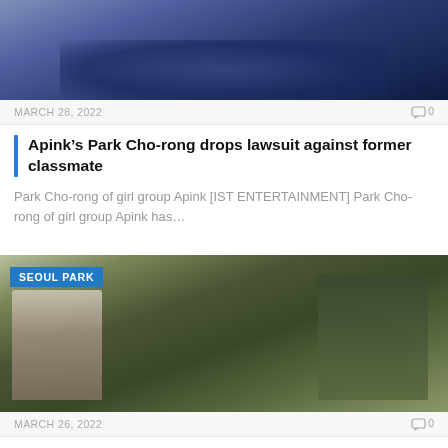[Figure (photo): Cropped photo showing a person in a dark navy blue outfit, seated or standing, upper body/torso visible]
MARCH 28, 2022
0
Apink’s Park Cho-rong drops lawsuit against former classmate
Park Cho-rong of girl group Apink [IST ENTERTAINMENT] Park Cho-rong of girl group Apink has…
[Figure (photo): Drama still showing a woman in white top with headband on the left, a man in green button-up shirt on the right, and another figure in the background holding a camera/polaroid. Label overlay says SEOUL PARK.]
MARCH 26, 2022
0